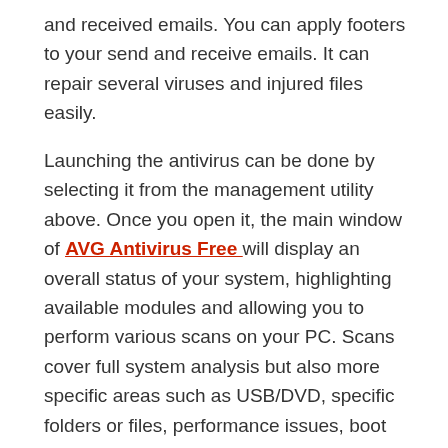and received emails. You can apply footers to your send and receive emails. It can repair several viruses and injured files easily.
Launching the antivirus can be done by selecting it from the management utility above. Once you open it, the main window of AVG Antivirus Free will display an overall status of your system, highlighting available modules and allowing you to perform various scans on your PC. Scans cover full system analysis but also more specific areas such as USB/DVD, specific folders or files, performance issues, boot sequence, and areas susceptible to infection.
AVG AntiVirus Free Crack Serial Key